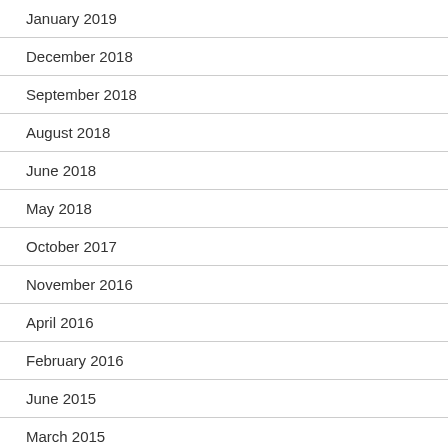January 2019
December 2018
September 2018
August 2018
June 2018
May 2018
October 2017
November 2016
April 2016
February 2016
June 2015
March 2015
February 2015